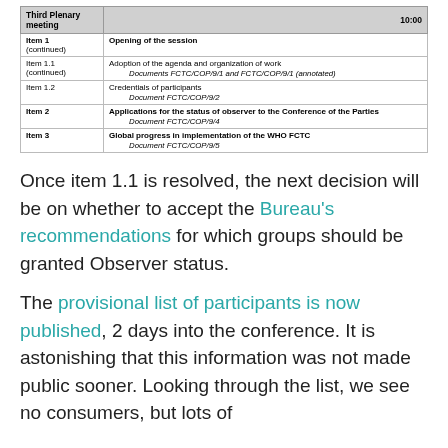| Third Plenary meeting | 10:00 |
| --- | --- |
| Item 1
(continued) | Opening of the session |
| Item 1.1
(continued) | Adoption of the agenda and organization of work
Documents FCTC/COP/9/1 and FCTC/COP/9/1 (annotated) |
| Item 1.2 | Credentials of participants
Document FCTC/COP/9/2 |
| Item 2 | Applications for the status of observer to the Conference of the Parties
Document FCTC/COP/9/4 |
| Item 3 | Global progress in implementation of the WHO FCTC
Document FCTC/COP/9/5 |
Once item 1.1 is resolved, the next decision will be on whether to accept the Bureau's recommendations for which groups should be granted Observer status.
The provisional list of participants is now published, 2 days into the conference. It is astonishing that this information was not made public sooner. Looking through the list, we see no consumers, but lots of